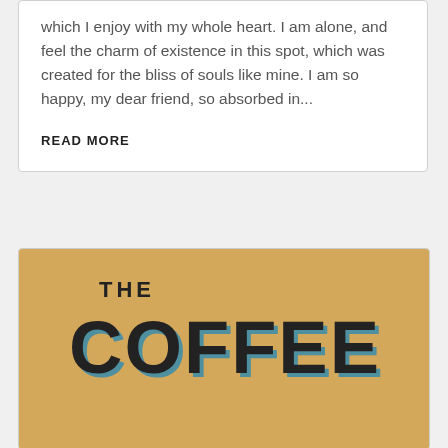which I enjoy with my whole heart. I am alone, and feel the charm of existence in this spot, which was created for the bliss of souls like mine. I am so happy, my dear friend, so absorbed in...
READ MORE
[Figure (illustration): A retro-styled graphic with warm golden/tan background showing the text 'THE COFFEE' in large bold stylized letters with blue shadow offset effect]